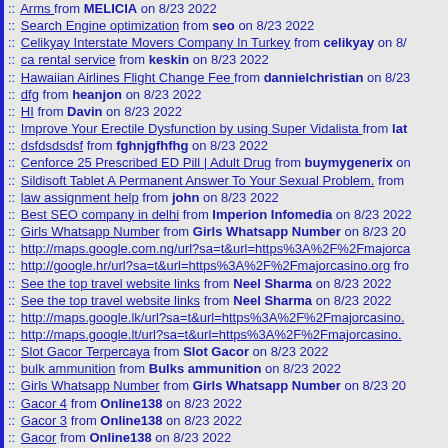:: Arms from MELICIA on 8/23 2022
:: Search Engine optimization from seo on 8/23 2022
:: Celikyay Interstate Movers Company In Turkey from celikyay on 8/
:: ca rental service from keskin on 8/23 2022
:: Hawaiian Airlines Flight Change Fee from dannielchristian on 8/23
:: dfg from heanjon on 8/23 2022
:: HI from Davin on 8/23 2022
:: Improve Your Erectile Dysfunction by using Super Vidalista from lat
:: dsfdsdsdsfdsf from fghnjgfhfhg on 8/23 2022
:: Cenforce 25 Prescribed ED Pill | Adult Drug from buymygenerix on
:: Sildisoft Tablet A Permanent Answer To Your Sexual Problem. from
:: law assignment help from john on 8/23 2022
:: Best SEO company in delhi from Imperion Infomedia on 8/23 2022
:: Girls Whatsapp Number from Girls Whatsapp Number on 8/23 20
:: http://maps.google.com.ng/url?sa=t&url=https%3A%2F%2Fmajorca
:: http://google.hr/url?sa=t&url=https%3A%2F%2Fmajorcasino.org fro
:: See the top travel website links from Neel Sharma on 8/23 2022
:: See the top travel website links from Neel Sharma on 8/23 2022
:: http://maps.google.lk/url?sa=t&url=https%3A%2F%2Fmajorcasino.
:: http://maps.google.lt/url?sa=t&url=https%3A%2F%2Fmajorcasino.
:: Slot Gacor Terpercaya from Slot Gacor on 8/23 2022
:: bulk ammunition from Bulks ammunition on 8/23 2022
:: Girls Whatsapp Number from Girls Whatsapp Number on 8/23 20
:: Gacor 4 from Online138 on 8/23 2022
:: Gacor 3 from Online138 on 8/23 2022
:: Gacor from Online138 on 8/23 2022
:: Gacor 3 from Online138 on 8/23 2022
:: Gacor 2 from Online138 on 8/23 2022
:: Gacor 4 from Online138 on 8/23 2022
:: Gacor from Online138 on 8/23 2022